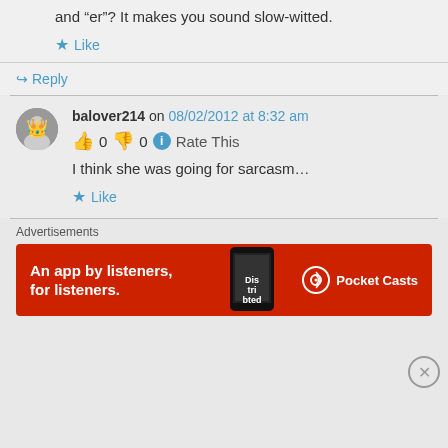and “er”? It makes you sound slow-witted.
Like
↪ Reply
balover214 on 08/02/2012 at 8:32 am
0  0  Rate This
I think she was going for sarcasm...
Like
Advertisements
[Figure (other): Pocket Casts advertisement banner: red background with text 'An app by listeners, for listeners.' and a phone image with app logo]